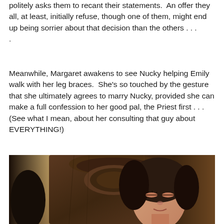politely asks them to recant their statements.  An offer they all, at least, initially refuse, though one of them, might end up being sorrier about that decision than the others . . .
Meanwhile, Margaret awakens to see Nucky helping Emily walk with her leg braces.  She's so touched by the gesture that she ultimately agrees to marry Nucky, provided she can make a full confession to her good pal, the Priest first . . .  (See what I mean, about her consulting that guy about EVERYTHING!)
[Figure (photo): A woman with dark hair lying in a bed with an ornate wooden headboard, eyes partially closed, in a dimly lit room with warm tones.]